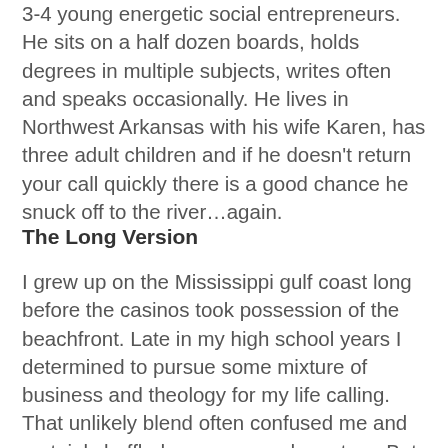3-4 young energetic social entrepreneurs. He sits on a half dozen boards, holds degrees in multiple subjects, writes often and speaks occasionally. He lives in Northwest Arkansas with his wife Karen, has three adult children and if he doesn't return your call quickly there is a good chance he snuck off to the river…again.
The Long Version
I grew up on the Mississippi gulf coast long before the casinos took possession of the beachfront. Late in my high school years I determined to pursue some mixture of business and theology for my life calling. That unlikely blend often confused me and certainly baffled my peers and mentors. But off I went. Two colleges and four graduate institutions later I was studied up and ready